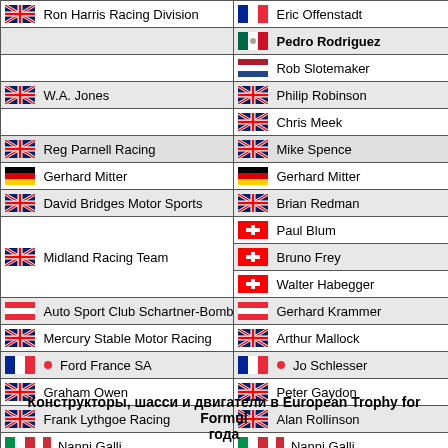| Team/Driver (Left) | Driver (Right) |
| --- | --- |
| Ron Harris Racing Division | Eric Offenstadt |
|  | Pedro Rodriguez |
|  | Rob Slotemaker |
| W.A. Jones | Philip Robinson |
|  | Chris Meek |
| Reg Parnell Racing | Mike Spence |
| Gerhard Mitter | Gerhard Mitter |
| David Bridges Motor Sports | Brian Redman |
| Midland Racing Team | Paul Blum |
|  | Bruno Frey |
|  | Walter Habegger |
| Auto Sport Club Schartner-Bombe | Gerhard Krammer |
| Mercury Stable Motor Racing | Arthur Mallock |
| Ford France SA | Jo Schlesser |
| Graham Owen | Peter Gaydon |
| Frank Lythgoe Racing | Alan Rollinson |
| Nanni Galli | Nanni Galli |
| Luigi Bertocco | Francesco Vento |
Конструкторы, шасси и двигатели в European Trophy for Formula года